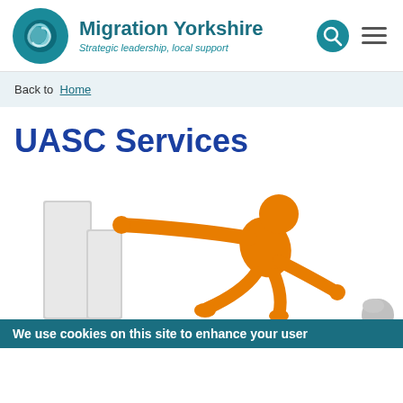Migration Yorkshire — Strategic leadership, local support
Back to Home
UASC Services
[Figure (illustration): 3D orange cartoon figure climbing over or past rectangular blocks, with another figure partially visible at the bottom right. White background.]
We use cookies on this site to enhance your user